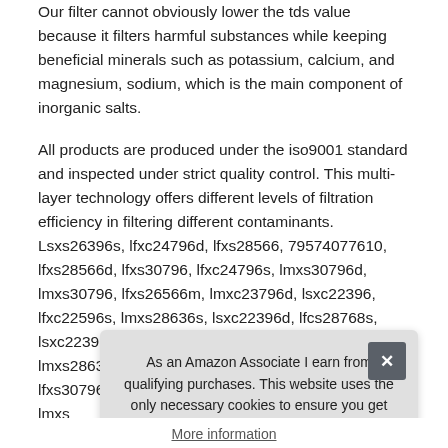Our filter cannot obviously lower the tds value because it filters harmful substances while keeping beneficial minerals such as potassium, calcium, and magnesium, sodium, which is the main component of inorganic salts.
All products are produced under the iso9001 standard and inspected under strict quality control. This multi-layer technology offers different levels of filtration efficiency in filtering different contaminants. Lsxs26396s, lfxc24796d, lfxs28566, 79574077610, lfxs28566d, lfxs30796, lfxc24796s, lmxs30796d, lmxs30796, lfxs26566m, lmxc23796d, lsxc22396, lfxc22596s, lmxs28636s, lsxc22396d, lfcs28768s, lsxc22396s, lfxs28566m, lfxs28968, lmxs28626d, lmxs28636, lsfxc2496d, lfxc24796, lfxc22526s, lfxs30796d, 79574077610, lmxs... lrfvs... lmxs...
As an Amazon Associate I earn from qualifying purchases. This website uses the only necessary cookies to ensure you get the best experience on our website. More information
More information